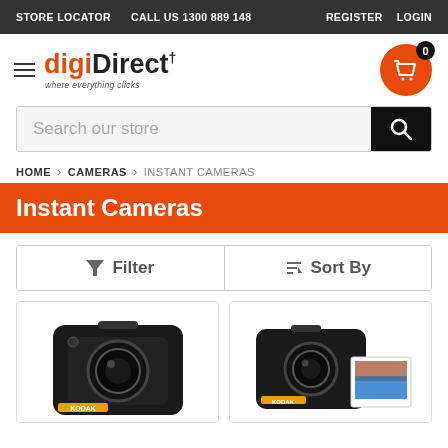STORE LOCATOR | CALL US 1300 889 148 | REGISTER | LOGIN
[Figure (logo): digiDirect logo with hamburger menu icon and tagline 'where everything clicks'. Orange shopping cart with badge showing 0.]
Search our store
HOME > CAMERAS > INSTANT CAMERAS
Instant Cameras
Filter
Sort By
[Figure (photo): Kodak instant camera, black, front view]
[Figure (photo): Kodak instant camera, black, side view with photo print]